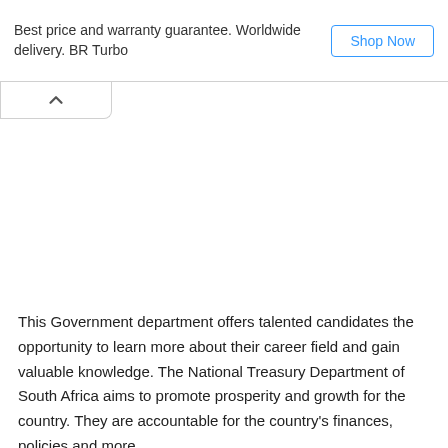Best price and warranty guarantee. Worldwide delivery. BR Turbo
Shop Now
This Government department offers talented candidates the opportunity to learn more about their career field and gain valuable knowledge. The National Treasury Department of South Africa aims to promote prosperity and growth for the country. They are accountable for the country's finances, policies and more.